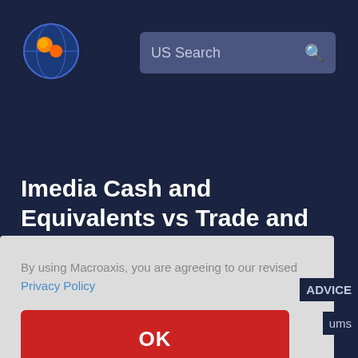[Figure (logo): Macroaxis globe logo with orange and blue colors]
US Search
Imedia Cash and Equivalents vs Trade and Non Trade Payables Analysis
By using Macroaxis, you are agreeing to our revised Privacy Policy
OK
ADVICE
ums